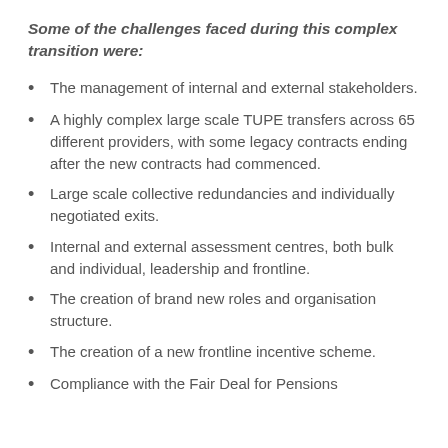Some of the challenges faced during this complex transition were:
The management of internal and external stakeholders.
A highly complex large scale TUPE transfers across 65 different providers, with some legacy contracts ending after the new contracts had commenced.
Large scale collective redundancies and individually negotiated exits.
Internal and external assessment centres, both bulk and individual, leadership and frontline.
The creation of brand new roles and organisation structure.
The creation of a new frontline incentive scheme.
Compliance with the Fair Deal for Pensions